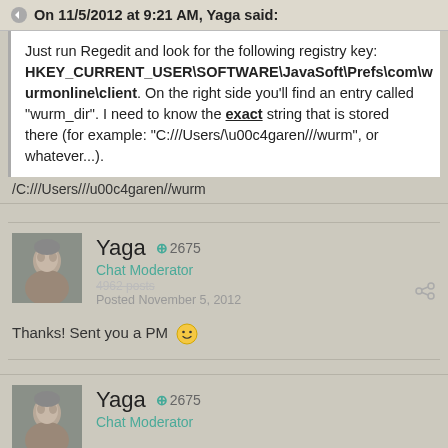On 11/5/2012 at 9:21 AM, Yaga said:
Just run Regedit and look for the following registry key: HKEY_CURRENT_USER\SOFTWARE\JavaSoft\Prefs\com\wurmonline\client. On the right side you'll find an entry called "wurm_dir". I need to know the exact string that is stored there (for example: "C:///Users/\u00c4garen///wurm", or whatever...).
/C:///Users///u00c4garen//wurm
Yaga  +2675
Chat Moderator
4962 posts
Posted November 5, 2012
Thanks! Sent you a PM 🙂
Yaga  +2675
Chat Moderator